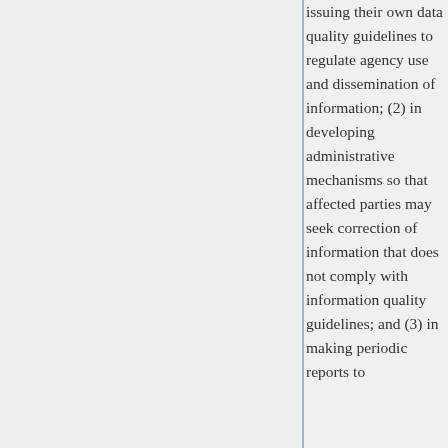issuing their own data quality guidelines to regulate agency use and dissemination of information; (2) in developing administrative mechanisms so that affected parties may seek correction of information that does not comply with information quality guidelines; and (3) in making periodic reports to